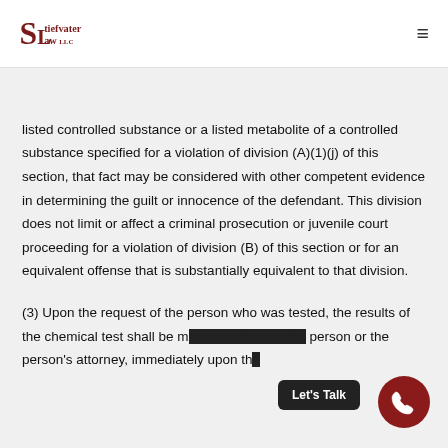Stiefvater Law LLC
listed controlled substance or a listed metabolite of a controlled substance specified for a violation of division (A)(1)(j) of this section, that fact may be considered with other competent evidence in determining the guilt or innocence of the defendant. This division does not limit or affect a criminal prosecution or juvenile court proceeding for a violation of division (B) of this section or for an equivalent offense that is substantially equivalent to that division.
(3) Upon the request of the person who was tested, the results of the chemical test shall be made available to the person or the person's attorney, immediately upon the